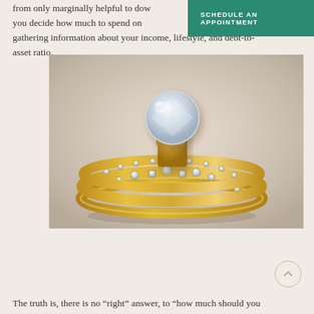from only marginally helpful to dow... you decide how much to spend on... gathering information about your income, lifestyle, and debt-to-asset ratio.
[Figure (photo): Close-up photo of a diamond engagement ring with round solitaire and gold band, stacked with a diamond-encrusted wedding band featuring alternating round and square diamonds in a milgrain setting.]
The truth is, there is no “right” answer, to "how much should you